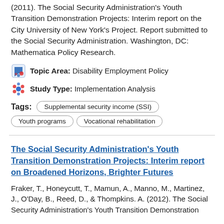(2011). The Social Security Administration's Youth Transition Demonstration Projects: Interim report on the City University of New York's Project. Report submitted to the Social Security Administration. Washington, DC: Mathematica Policy Research.
Topic Area: Disability Employment Policy
Study Type: Implementation Analysis
Tags: Supplemental security income (SSI)  Youth programs  Vocational rehabilitation
The Social Security Administration's Youth Transition Demonstration Projects: Interim report on Broadened Horizons, Brighter Futures
Fraker, T., Honeycutt, T., Mamun, A., Manno, M., Martinez, J., O'Day, B., Reed, D., & Thompkins. A. (2012). The Social Security Administration's Youth Transition Demonstration